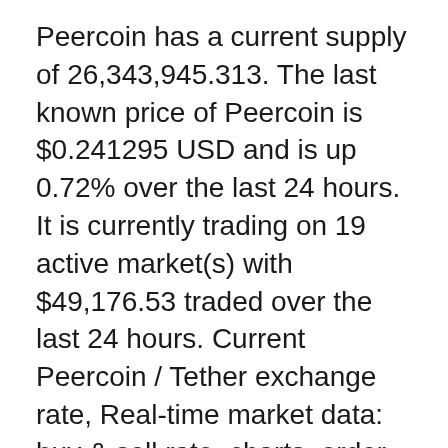Peercoin has a current supply of 26,343,945.313. The last known price of Peercoin is $0.241295 USD and is up 0.72% over the last 24 hours. It is currently trading on 19 active market(s) with $49,176.53 traded over the last 24 hours. Current Peercoin / Tether exchange rate, Real-time market data: buy & sell rate, charts, order book Year 2020 Peercoin/United States dollar (PPC/USD) rates history, splited by months, charts for the whole year and every month, exchange rates for any day of the year. Source: Cryptocurrency Market Capitalizations (CMC) How much is 1000 PPC (Peercoins) in USD (US Dollars).
Source: free currency rates (FCR) PPC [Peercoin] USD [US Dollar] 0.01 Peercoin = 0.004419 US Dollar: 0.1 Peercoin = 0.044191 US Dollar: 1